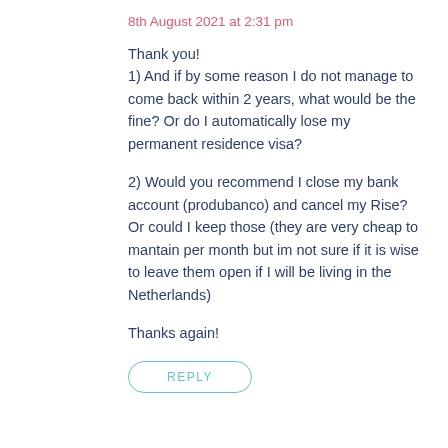8th August 2021 at 2:31 pm
Thank you!
1) And if by some reason I do not manage to come back within 2 years, what would be the fine? Or do I automatically lose my permanent residence visa?

2) Would you recommend I close my bank account (produbanco) and cancel my Rise? Or could I keep those (they are very cheap to mantain per month but im not sure if it is wise to leave them open if I will be living in the Netherlands)

Thanks again!
REPLY